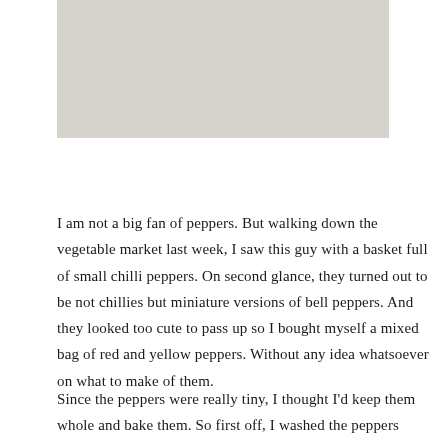[Figure (photo): A rectangular photo placeholder with a light gray/beige background, partially visible at the top of the page.]
I am not a big fan of peppers. But walking down the vegetable market last week, I saw this guy with a basket full of small chilli peppers. On second glance, they turned out to be not chillies but miniature versions of bell peppers. And they looked too cute to pass up so I bought myself a mixed bag of red and yellow peppers. Without any idea whatsoever on what to make of them.
Since the peppers were really tiny, I thought I'd keep them whole and bake them. So first off, I washed the peppers